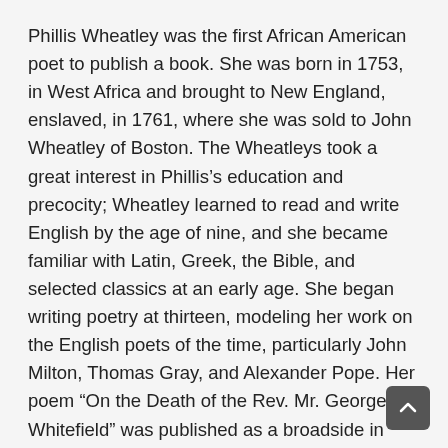Phillis Wheatley was the first African American poet to publish a book. She was born in 1753, in West Africa and brought to New England, enslaved, in 1761, where she was sold to John Wheatley of Boston. The Wheatleys took a great interest in Phillis’s education and precocity; Wheatley learned to read and write English by the age of nine, and she became familiar with Latin, Greek, the Bible, and selected classics at an early age. She began writing poetry at thirteen, modeling her work on the English poets of the time, particularly John Milton, Thomas Gray, and Alexander Pope. Her poem “On the Death of the Rev. Mr. George Whitefield” was published as a broadside in cities such as Boston, New York, and Philadelphia and garnered Wheatley national acclaim. This poem was also printed in London. Over the next few years, she would print a number of broadsides elegizing prominent English and colonial leaders.
Wheatley’s doctor suggested that a trip might improve he…